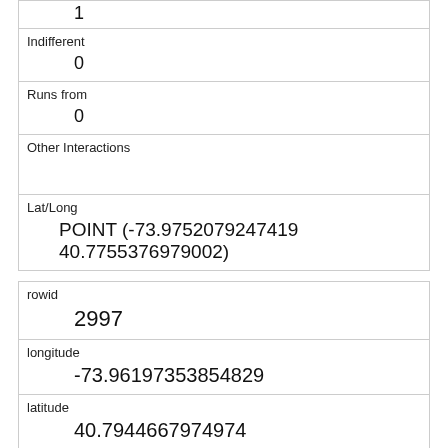| 1 |
| Indifferent | 0 |
| Runs from | 0 |
| Other Interactions |  |
| Lat/Long | POINT (-73.9752079247419 40.7755376979002) |
| rowid | 2997 |
| longitude | -73.96197353854829 |
| latitude | 40.7944667974974 |
| Unique Squirrel ID | 35A-PM-1013-01 |
| Hectare | 35A |
| Shift |  |